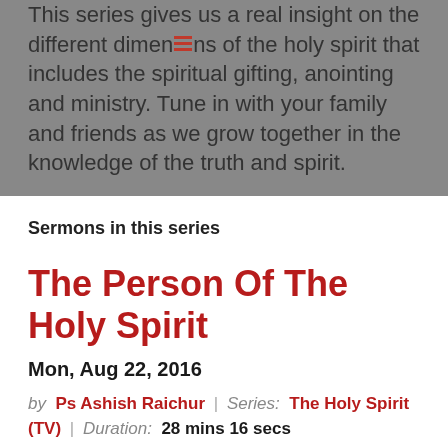This series gives us a real insight on the different dimensions of the holy spirit that includes the spiritual gifting, anointing and ministry. Tune in with your family and friends as we grow together in the knowledge of the truth and spirit.
Sermons in this series
The Person Of The Holy Spirit
Mon, Aug 22, 2016
by Ps Ashish Raichur | Series: The Holy Spirit (TV) | Duration: 28 mins 16 secs
There is one God and only one God. This one God exists eternally in 3 persons – The